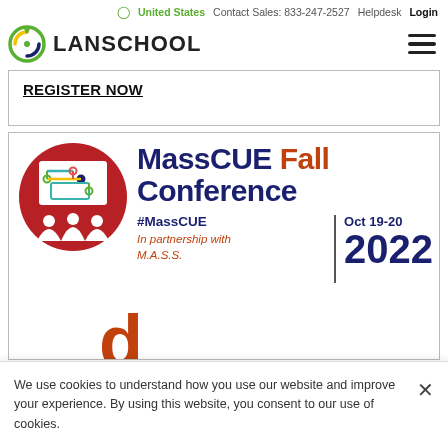United States  Contact Sales: 833-247-2527  Helpdesk  Login
[Figure (logo): LanSchool logo with circular icon and text LANSCHOOL]
REGISTER NOW
[Figure (illustration): MassCUE Fall Conference banner with red circular icon showing a presentation with connected nodes and three people silhouettes. Text: MassCUE Fall Conference #MassCUE In partnership with M.A.S.S. Oct 19-20 2022]
We use cookies to understand how you use our website and improve your experience. By using this website, you consent to our use of cookies.